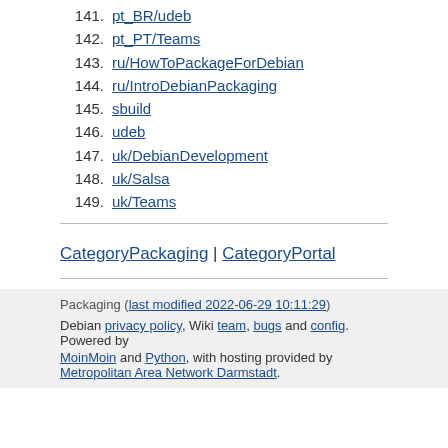141. pt_BR/udeb
142. pt_PT/Teams
143. ru/HowToPackageForDebian
144. ru/IntroDebianPackaging
145. sbuild
146. udeb
147. uk/DebianDevelopment
148. uk/Salsa
149. uk/Teams
CategoryPackaging | CategoryPortal
Packaging (last modified 2022-06-29 10:11:29)
Debian privacy policy, Wiki team, bugs and config. Powered by MoinMoin and Python, with hosting provided by Metropolitan Area Network Darmstadt.